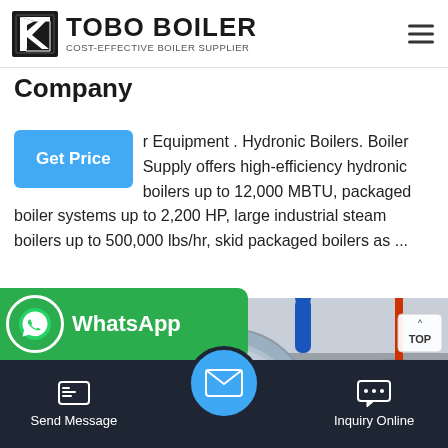TOBO BOILER — COST-EFFECTIVE BOILER SUPPLIER
Company
r Equipment . Hydronic Boilers. Boiler Supply offers high-efficiency hydronic boilers up to 12,000 MBTU, packaged boiler systems up to 2,200 HP, large industrial steam boilers up to 500,000 lbs/hr, skid packaged boilers as ...
[Figure (photo): Industrial boiler room with multiple large cylindrical boiler units, featuring blue, red, and yellow pipes. Central boiler has a red logo/brand marking. Equipment is installed in a commercial/industrial facility.]
Send Message | WhatsApp | Inquiry Online